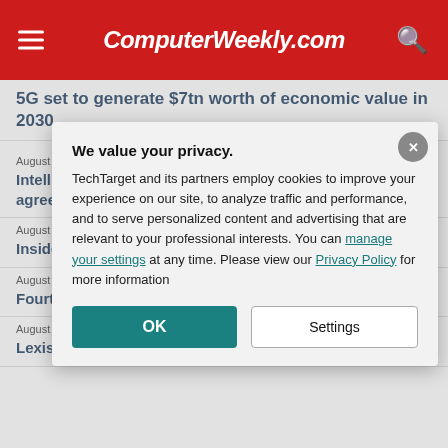ComputerWeekly.com
5G set to generate $7tn worth of economic value in 2030
August 19, 2022
Intellian inks satellite communications partnership agreement with Speedcast
August 19, 2022
Inside Singapore's journey
August 18, 2022
Fourth year of computing
August 18, 2022
LexisNexis over data p
We value your privacy.

TechTarget and its partners employ cookies to improve your experience on our site, to analyze traffic and performance, and to serve personalized content and advertising that are relevant to your professional interests. You can manage your settings at any time. Please view our Privacy Policy for more information